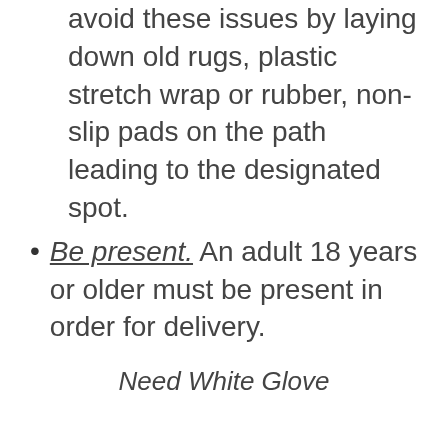avoid these issues by laying down old rugs, plastic stretch wrap or rubber, non-slip pads on the path leading to the designated spot.
Be present. An adult 18 years or older must be present in order for delivery.
Need White Glove